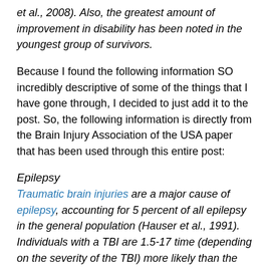et al., 2008). Also, the greatest amount of improvement in disability has been noted in the youngest group of survivors.
Because I found the following information SO incredibly descriptive of some of the things that I have gone through, I decided to just add it to the post. So, the following information is directly from the Brain Injury Association of the USA paper that has been used through this entire post:
Epilepsy
Traumatic brain injuries are a major cause of epilepsy, accounting for 5 percent of all epilepsy in the general population (Hauser et al., 1991). Individuals with a TBI are 1.5-17 time (depending on the severity of the TBI) more likely than the general population to develop seizures